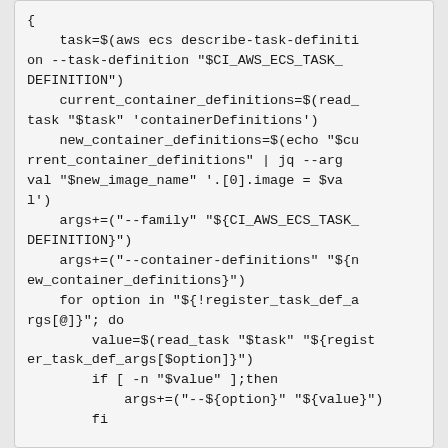{
    task=$(aws ecs describe-task-definition --task-definition "$CI_AWS_ECS_TASK_DEFINITION")
    current_container_definitions=$(read_task "$task" 'containerDefinitions')
    new_container_definitions=$(echo "$current_container_definitions" | jq --arg val "$new_image_name" '.[0].image = $val')
    args+=("--family" "${CI_AWS_ECS_TASK_DEFINITION}")
    args+=("--container-definitions" "${new_container_definitions}")
    for option in "${!register_task_def_args[@]}"; do
        value=$(read_task "$task" "${register_task_def_args[$option]}")
        if [ -n "$value" ];then
            args+=("--${option}" "${value}")
        fi